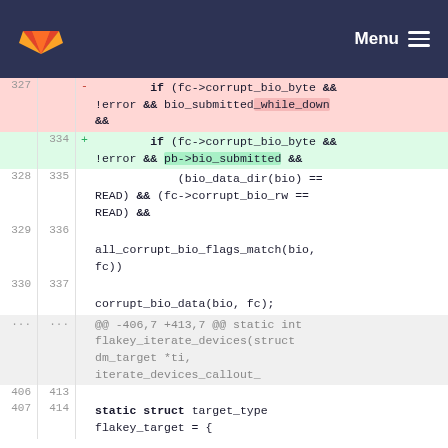GitLab Menu
[Figure (screenshot): Code diff view showing changes to Linux kernel flakey device driver code, with removed lines highlighted in red and added lines in green.]